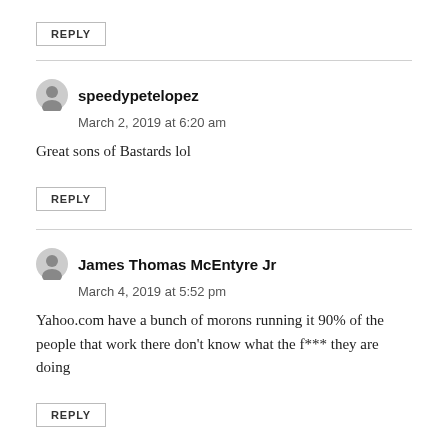REPLY
speedypetelopez
March 2, 2019 at 6:20 am
Great sons of Bastards lol
REPLY
James Thomas McEntyre Jr
March 4, 2019 at 5:52 pm
Yahoo.com have a bunch of morons running it 90% of the people that work there don’t know what the f*** they are doing
REPLY